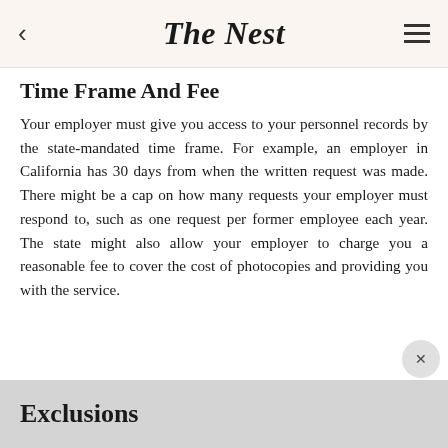The Nest
Time Frame And Fee
Your employer must give you access to your personnel records by the state-mandated time frame. For example, an employer in California has 30 days from when the written request was made. There might be a cap on how many requests your employer must respond to, such as one request per former employee each year. The state might also allow your employer to charge you a reasonable fee to cover the cost of photocopies and providing you with the service.
Exclusions